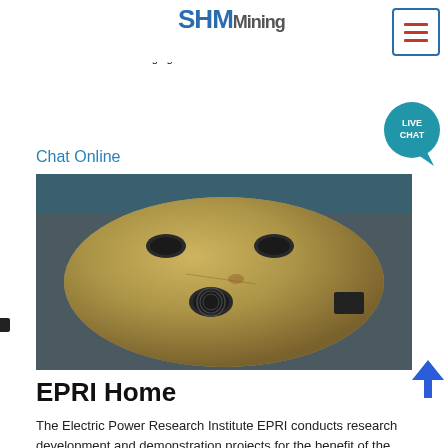Henderson NV 89 Toll Free 985 6463 VISIT US ON FACEBOOK READ THE GOLD F BLOG Equipment / Buy Gold Nuggets Gold Panning Paydirt / Mining T Shirts Drywashers / Metal Detectors Suction Dredging for Gold.
Chat Online
[Figure (photo): Close-up top view of a circular metal disc/plate with three holes drilled into it, sitting on industrial equipment. The metal surface shows rust and wear marks.]
EPRI Home
The Electric Power Research Institute EPRI conducts research development and demonstration projects for the benefit of the public in the United States and internationally As an independent nonprofit organization for public interest energy and environmental research we focus on electricity generation delivery and use in collaboration with the electricity sector its stakeholders and